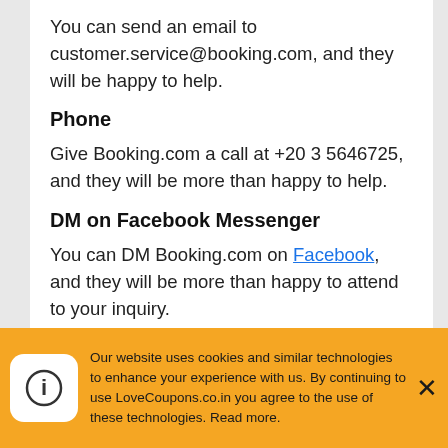You can send an email to customer.service@booking.com, and they will be happy to help.
Phone
Give Booking.com a call at +20 3 5646725, and they will be more than happy to help.
DM on Facebook Messenger
You can DM Booking.com on Facebook, and they will be more than happy to attend to your inquiry.
DM on Twitter
Our website uses cookies and similar technologies to enhance your experience with us. By continuing to use LoveCoupons.co.in you agree to the use of these technologies. Read more.